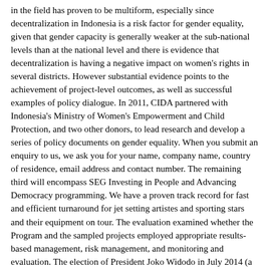in the field has proven to be multiform, especially since decentralization in Indonesia is a risk factor for gender equality, given that gender capacity is generally weaker at the sub-national levels than at the national level and there is evidence that decentralization is having a negative impact on women's rights in several districts. However substantial evidence points to the achievement of project-level outcomes, as well as successful examples of policy dialogue. In 2011, CIDA partnered with Indonesia's Ministry of Women's Empowerment and Child Protection, and two other donors, to lead research and develop a series of policy documents on gender equality. When you submit an enquiry to us, we ask you for your name, company name, country of residence, email address and contact number. The remaining third will encompass SEG Investing in People and Advancing Democracy programming. We have a proven track record for fast and efficient turnaround for jet setting artistes and sporting stars and their equipment on tour. The evaluation examined whether the Program and the sampled projects employed appropriate results-based management, risk management, and monitoring and evaluation. The election of President Joko Widodo in July 2014 (a non-military leader who is not linked to the old order) is a positive indication that anti-corruption, transparency, and accountability will be pursued with renewed vigour. Indonesia's National PNPM Program is managed by the World Bank and funded by several donor countries. This requires a high level of policy dialogue and government buy-in. Based on multiple